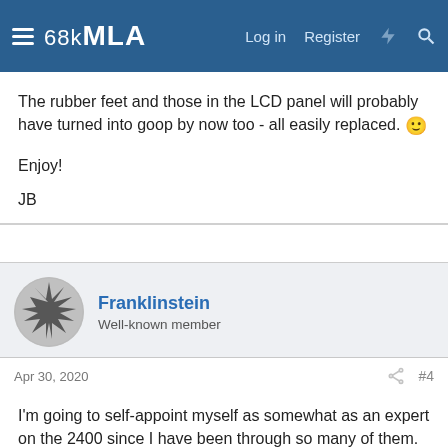68kMLA  Log in  Register
The rubber feet and those in the LCD panel will probably have turned into goop by now too - all easily replaced. 🙂

Enjoy!

JB
Franklinstein
Well-known member
Apr 30, 2020  #4
I'm going to self-appoint myself as somewhat as an expert on the 2400 since I have been through so many of them.

First, some unabashed adoration: these are probably my favorite of the vintage PowerBooks, certainly my favorite of the